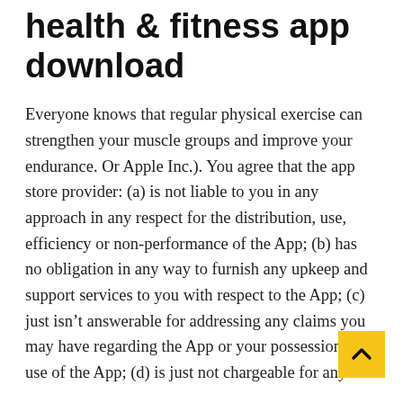health & fitness app download
Everyone knows that regular physical exercise can strengthen your muscle groups and improve your endurance. Or Apple Inc.). You agree that the app store provider: (a) is not liable to you in any approach in any respect for the distribution, use, efficiency or non-performance of the App; (b) has no obligation in any way to furnish any upkeep and support services to you with respect to the App; (c) just isn't answerable for addressing any claims you may have regarding the App or your possession or use of the App; (d) is just not chargeable for any